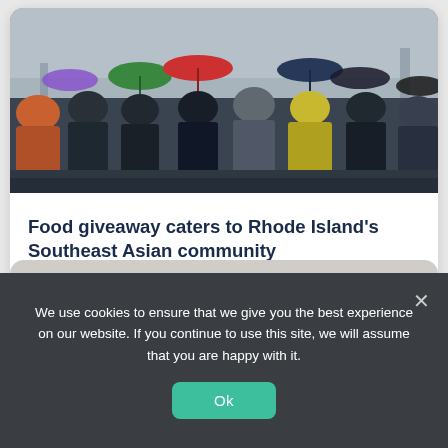[Figure (photo): A crowd of people wearing masks and holding umbrellas standing in a line outdoors in rainy weather, apparently waiting at a food giveaway event.]
Food giveaway caters to Rhode Island's Southeast Asian community
by Erin Read
We use cookies to ensure that we give you the best experience on our website. If you continue to use this site, we will assume that you are happy with it.